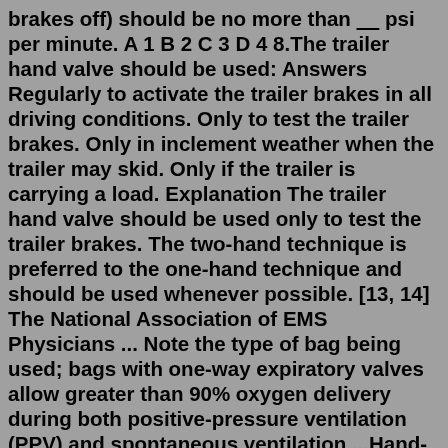brakes off) should be no more than ____ psi per minute. A 1 B 2 C 3 D 4 8.The trailer hand valve should be used: Answers Regularly to activate the trailer brakes in all driving conditions. Only to test the trailer brakes. Only in inclement weather when the trailer may skid. Only if the trailer is carrying a load. Explanation The trailer hand valve should be used only to test the trailer brakes. The two-hand technique is preferred to the one-hand technique and should be used whenever possible. [13, 14] The National Association of EMS Physicians ... Note the type of bag being used; bags with one-way expiratory valves allow greater than 90% oxygen delivery during both positive-pressure ventilation (PPV) and spontaneous ventilation ...Hand-operated trailer control valve. To allow you to activate the trailer’s brakes independently of the tractor, a hand valve, sometimes known as a “spike” (Fig. 39), has been fitted. The hand valve is often supplied by both main and secondary circuits and is routed to a double-check valve to ensure proper operation (which is also